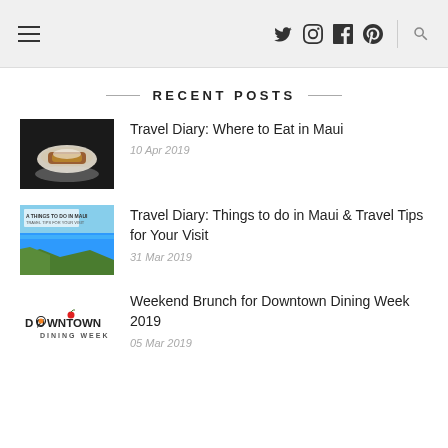Navigation header with hamburger menu, social icons (Twitter, Instagram, Facebook, Pinterest), and search icon
RECENT POSTS
[Figure (photo): Food photo: dessert/dish on a white plate on dark background]
Travel Diary: Where to Eat in Maui
10 Apr 2019
[Figure (photo): Coastal/beach scene in Maui with blue ocean and green cliffs, travel diary thumbnail]
Travel Diary: Things to do in Maui & Travel Tips for Your Visit
31 Mar 2019
[Figure (logo): Downtown Dining Week 2019 logo]
Weekend Brunch for Downtown Dining Week 2019
05 Mar 2019